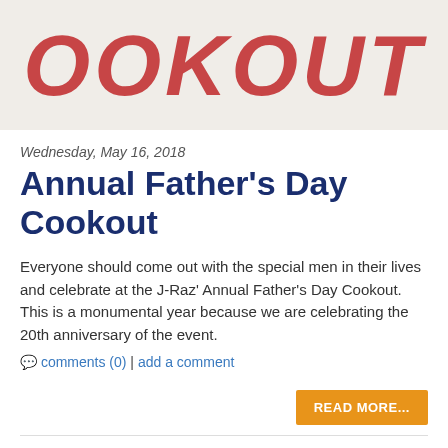[Figure (photo): Photo of a white fabric or sign with large red italic letters spelling COOKOUT]
Wednesday, May 16, 2018
Annual Father's Day Cookout
Everyone should come out with the special men in their lives and celebrate at the J-Raz' Annual Father's Day Cookout. This is a monumental year because we are celebrating the 20th anniversary of the event.
💬 comments (0) | add a comment
READ MORE...